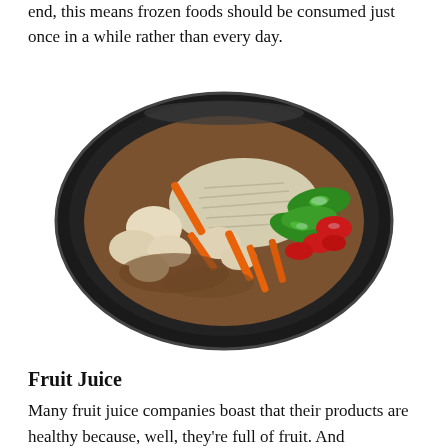end, this means frozen foods should be consumed just once in a while rather than every day.
[Figure (photo): A black plastic tray containing a frozen meal with chicken pieces, rice, carrots, snap peas, and red peppers in a brown sauce.]
Fruit Juice
Many fruit juice companies boast that their products are healthy because, well, they're full of fruit. And technically that's usually the case—orange juice, for example, is typically full of oranges.